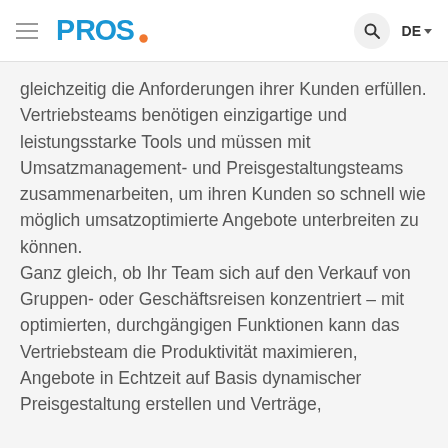PROS. [navigation bar with hamburger menu, PROS logo, search icon, DE language selector]
gleichzeitig die Anforderungen ihrer Kunden erfüllen.
Vertriebsteams benötigen einzigartige und leistungsstarke Tools und müssen mit Umsatzmanagement- und Preisgestaltungsteams zusammenarbeiten, um ihren Kunden so schnell wie möglich umsatzoptimierte Angebote unterbreiten zu können.
Ganz gleich, ob Ihr Team sich auf den Verkauf von Gruppen- oder Geschäftsreisen konzentriert – mit optimierten, durchgängigen Funktionen kann das Vertriebsteam die Produktivität maximieren, Angebote in Echtzeit auf Basis dynamischer Preisgestaltung erstellen und Verträge,